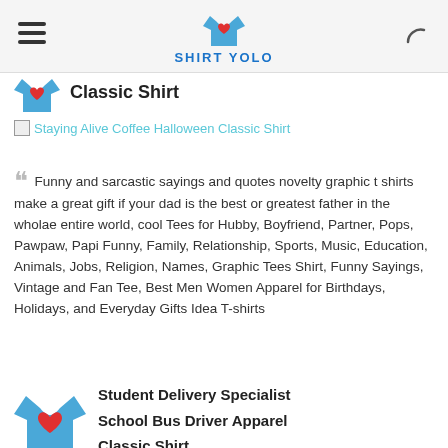SHIRT YOLO
Classic Shirt
Staying Alive Coffee Halloween Classic Shirt
Funny and sarcastic sayings and quotes novelty graphic t shirts make a great gift if your dad is the best or greatest father in the wholae entire world, cool Tees for Hubby, Boyfriend, Partner, Pops, Pawpaw, Papi Funny, Family, Relationship, Sports, Music, Education, Animals, Jobs, Religion, Names, Graphic Tees Shirt, Funny Sayings, Vintage and Fan Tee, Best Men Women Apparel for Birthdays, Holidays, and Everyday Gifts Idea T-shirts
Student Delivery Specialist School Bus Driver Apparel Classic Shirt
[Figure (photo): Dark black t-shirt product image at the bottom of the page]